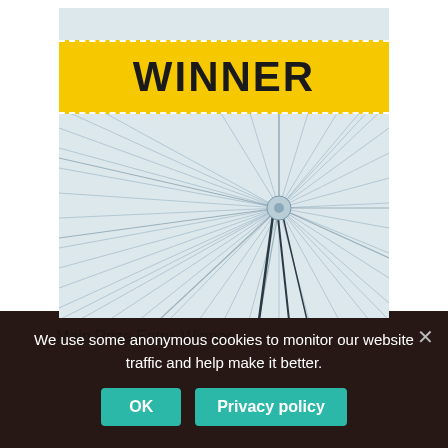[Figure (illustration): Book cover with a yellow 'WINNER' banner overlaid on a abstract fibrous/dandelion-like illustration in grey and blue tones.]
Main Prize Entry, Winner
We use some anonymous cookies to monitor our website traffic and help make it better.
OK
Privacy policy